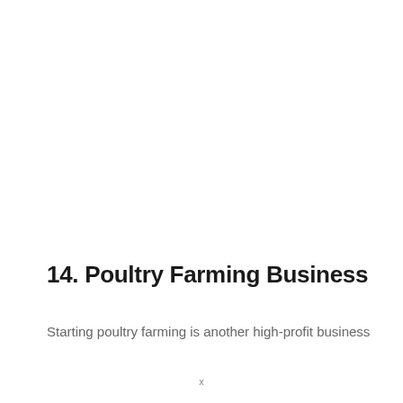14. Poultry Farming Business
Starting poultry farming is another high-profit business
x